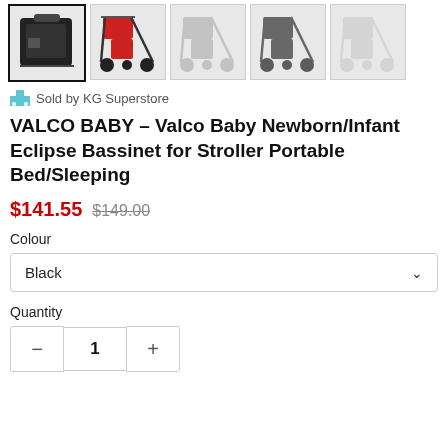[Figure (photo): Row of 5 product thumbnail images showing stroller/bassinet bag and stroller variants; first thumbnail (selected with bold border) shows black travel bag/bassinet, second shows red stroller, third through fifth show progressively lighter/ghost stroller images]
Sold by KG Superstore
VALCO BABY – Valco Baby Newborn/Infant Eclipse Bassinet for Stroller Portable Bed/Sleeping
$141.55  $149.00
Colour
Black
Quantity
1